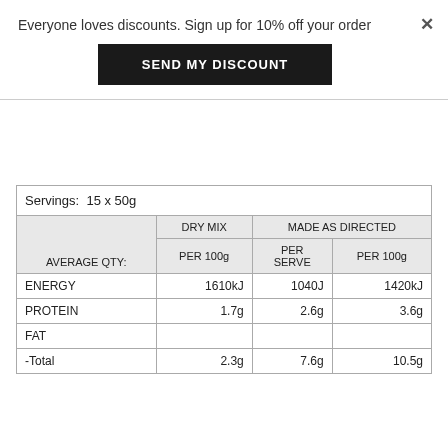Everyone loves discounts. Sign up for 10% off your order
SEND MY DISCOUNT
| AVERAGE QTY: | DRY MIX PER 100g | MADE AS DIRECTED PER SERVE | MADE AS DIRECTED PER 100g |
| --- | --- | --- | --- |
| ENERGY | 1610kJ | 1040J | 1420kJ |
| PROTEIN | 1.7g | 2.6g | 3.6g |
| FAT |  |  |  |
| -Total | 2.3g | 7.6g | 10.5g |